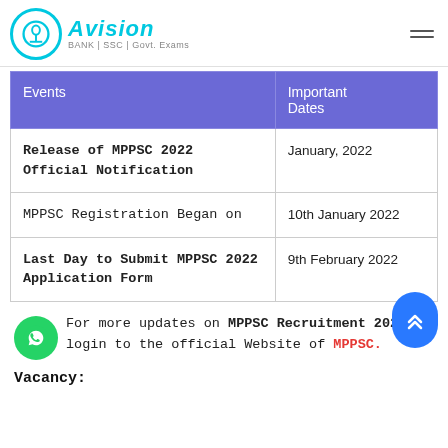Avision — BANK | SSC | Govt. Exams
| Events | Important Dates |
| --- | --- |
| Release of MPPSC 2022 Official Notification | January, 2022 |
| MPPSC Registration Began on | 10th January 2022 |
| Last Day to Submit MPPSC 2022 Application Form | 9th February 2022 |
For more updates on MPPSC Recruitment 2022, login to the official Website of MPPSC.
Vacancy: